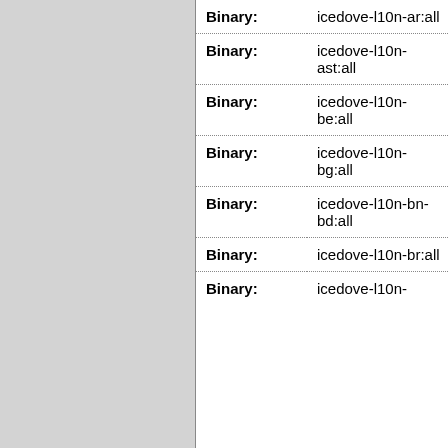| Type | Package |
| --- | --- |
| Binary: | icedove-l10n-ar:all |
| Binary: | icedove-l10n-ast:all |
| Binary: | icedove-l10n-be:all |
| Binary: | icedove-l10n-bg:all |
| Binary: | icedove-l10n-bn-bd:all |
| Binary: | icedove-l10n-br:all |
| Binary: | icedove-l10n- |